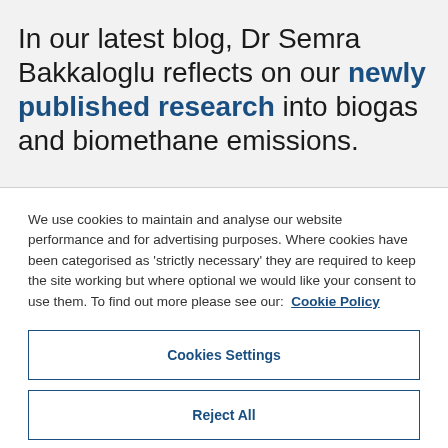In our latest blog, Dr Semra Bakkaloglu reflects on our newly published research into biogas and biomethane emissions.
We use cookies to maintain and analyse our website performance and for advertising purposes. Where cookies have been categorised as 'strictly necessary' they are required to keep the site working but where optional we would like your consent to use them. To find out more please see our: Cookie Policy
Cookies Settings
Reject All